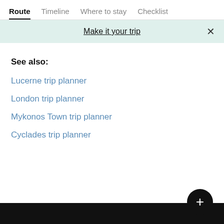Route | Timeline | Where to stay | Checklist
Make it your trip
See also:
Lucerne trip planner
London trip planner
Mykonos Town trip planner
Cyclades trip planner